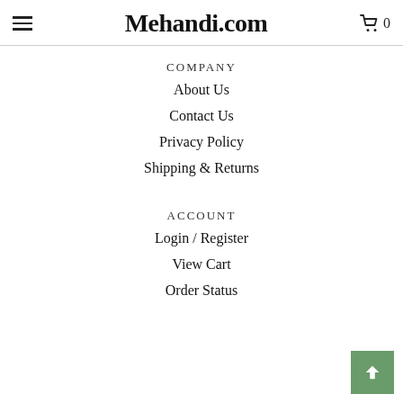Mehandi.com
COMPANY
About Us
Contact Us
Privacy Policy
Shipping & Returns
ACCOUNT
Login / Register
View Cart
Order Status